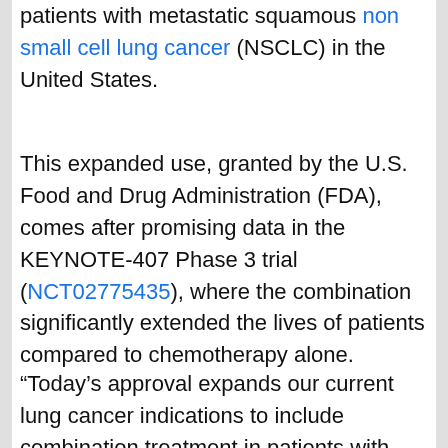patients with metastatic squamous non small cell lung cancer (NSCLC) in the United States.
This expanded use, granted by the U.S. Food and Drug Administration (FDA), comes after promising data in the KEYNOTE-407 Phase 3 trial (NCT02775435), where the combination significantly extended the lives of patients compared to chemotherapy alone.
“Today’s approval expands our current lung cancer indications to include combination treatment in patients with